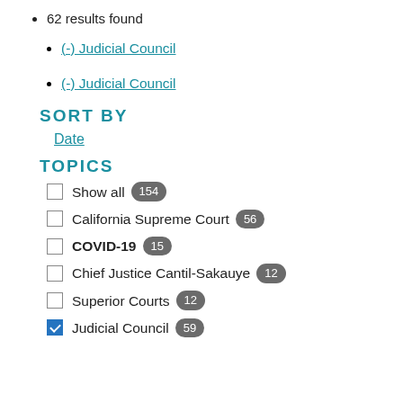62 results found
(-) Judicial Council
(-) Judicial Council
SORT BY
Date
TOPICS
Show all 154
California Supreme Court 56
COVID-19 15
Chief Justice Cantil-Sakauye 12
Superior Courts 12
Judicial Council 59